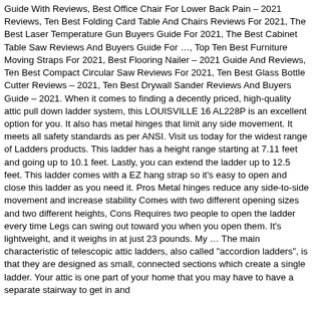Guide With Reviews, Best Office Chair For Lower Back Pain – 2021 Reviews, Ten Best Folding Card Table And Chairs Reviews For 2021, The Best Laser Temperature Gun Buyers Guide For 2021, The Best Cabinet Table Saw Reviews And Buyers Guide For …, Top Ten Best Furniture Moving Straps For 2021, Best Flooring Nailer – 2021 Guide And Reviews, Ten Best Compact Circular Saw Reviews For 2021, Ten Best Glass Bottle Cutter Reviews – 2021, Ten Best Drywall Sander Reviews And Buyers Guide – 2021. When it comes to finding a decently priced, high-quality attic pull down ladder system, this LOUISVILLE 16 AL228P is an excellent option for you. It also has metal hinges that limit any side movement. It meets all safety standards as per ANSI. Visit us today for the widest range of Ladders products. This ladder has a height range starting at 7.11 feet and going up to 10.1 feet. Lastly, you can extend the ladder up to 12.5 feet. This ladder comes with a EZ hang strap so it's easy to open and close this ladder as you need it. Pros Metal hinges reduce any side-to-side movement and increase stability Comes with two different opening sizes and two different heights, Cons Requires two people to open the ladder every time Legs can swing out toward you when you open them. It's lightweight, and it weighs in at just 23 pounds. My … The main characteristic of telescopic attic ladders, also called "accordion ladders", is that they are designed as small, connected sections which create a single ladder. Your attic is one part of your home that you may have to have a separate stairway to get in and